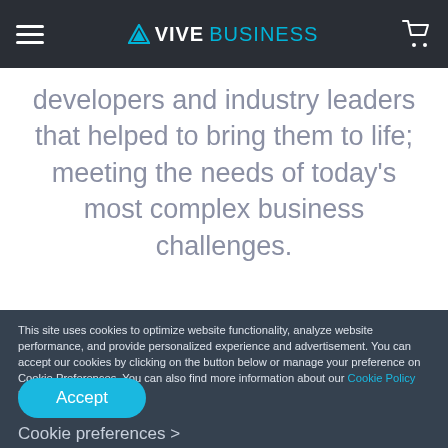VIVE BUSINESS
developers and industry leaders that helped to bring them to life; meeting the needs of today's most complex business challenges.
This site uses cookies to optimize website functionality, analyze website performance, and provide personalized experience and advertisement. You can accept our cookies by clicking on the button below or manage your preference on Cookie Preferences. You can also find more information about our Cookie Policy here.
Accept
Cookie preferences >